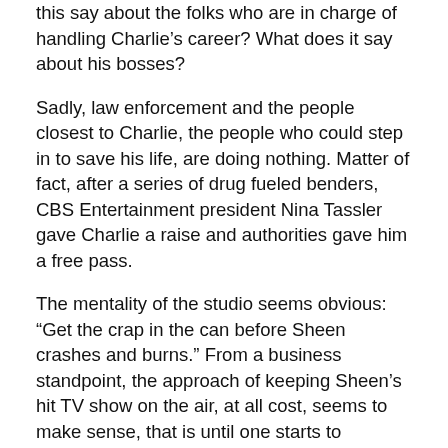this say about the folks who are in charge of handling Charlie's career? What does it say about his bosses?
Sadly, law enforcement and the people closest to Charlie, the people who could step in to save his life, are doing nothing. Matter of fact, after a series of drug fueled benders, CBS Entertainment president Nina Tassler gave Charlie a raise and authorities gave him a free pass.
The mentality of the studio seems obvious: “Get the crap in the can before Sheen crashes and burns.” From a business standpoint, the approach of keeping Sheen’s hit TV show on the air, at all cost, seems to make sense, that is until one starts to examine the ripple effect of Sheen’s personal problems and how those issues send a strong signal to people in the world, and especially America’s youth. The message is like: “Hey kiddies! You CAN do hard drugs and still be successful!”